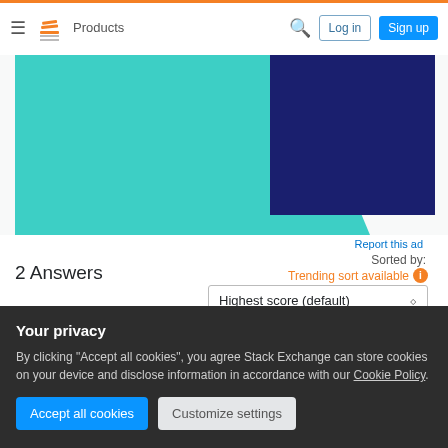≡ [Stack Overflow logo] Products 🔍 Log in Sign up
[Figure (screenshot): Advertisement banner with teal triangular shape and dark navy rectangle on white background]
Report this ad
Sorted by:
2 Answers
Trending sort available ℹ
Highest score (default)
1. In QMap<QString, QVariant(QMap<QString, QVariant>)> , you have defined a map from a
Your privacy
By clicking "Accept all cookies", you agree Stack Exchange can store cookies on your device and disclose information in accordance with our Cookie Policy.
Accept all cookies   Customize settings
template parameters need to be type names,